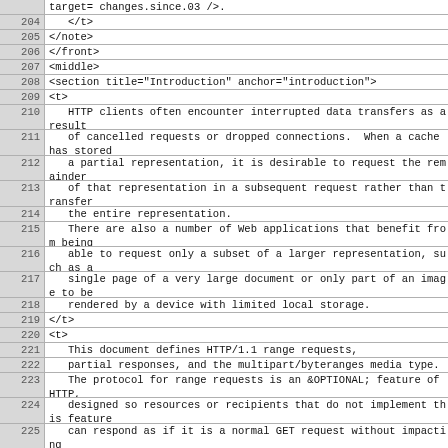Code listing lines 204-225 of an XML/RFC document source file showing HTTP range requests introduction section
204:     </t>
205: </note>
206: </front>
207: <middle>
208: <section title="Introduction" anchor="introduction">
209: <t>
210:     HTTP clients often encounter interrupted data transfers as a result
211:     of cancelled requests or dropped connections.  When a cache has stored
212:     a partial representation, it is desirable to request the remainder
213:     of that representation in a subsequent request rather than transfer
214:     the entire representation.
215:     There are also a number of Web applications that benefit from being
216:     able to request only a subset of a larger representation, such as a
217:     single page of a very large document or only part of an image to be
218:     rendered by a device with limited local storage.
219: </t>
220: <t>
221:     This document defines HTTP/1.1 range requests,
222:     partial responses, and the multipart/byteranges media type.
223:     The protocol for range requests is an &OPTIONAL; feature of HTTP,
224:     designed so resources or recipients that do not implement this feature
225:     can respond as if it is a normal GET request without impacting